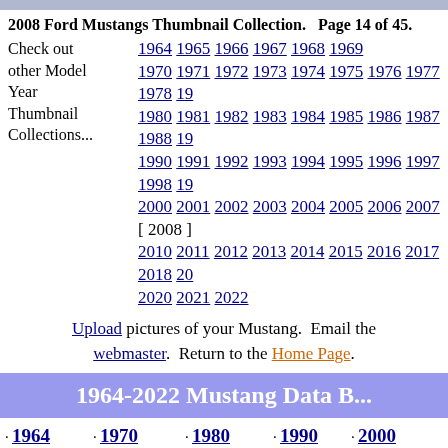2008 Ford Mustangs Thumbnail Collection.  Page 14 of 45.
Check out other Model Year Thumbnail Collections... 1964 1965 1966 1967 1968 1969 1970 1971 1972 1973 1974 1975 1976 1977 1978 19.. 1980 1981 1982 1983 1984 1985 1986 1987 1988 19.. 1990 1991 1992 1993 1994 1995 1996 1997 1998 19.. 2000 2001 2002 2003 2004 2005 2006 2007 [ 2008 ] 2010 2011 2012 2013 2014 2015 2016 2017 2018 20.. 2020 2021 2022
Upload pictures of your Mustang. Email the webmaster. Return to the Home Page.
1964-2022 Mustang Data B...
· 1964 Body Styles Grille Styles Rear Styles Wheel Styles Special Models Sales
· 1970 Body Styles Grille Styles Rear Styles Wheel Styles Special Models Sales
· 1980 Body Styles Grille Styles Rear Styles Special Models Sales Brochures
· 1990 Body Styles Grille Styles Rear Styles Special Models...
· 2000 Body Styles Grille Styles Rear Styles Special Models Sales Brochures